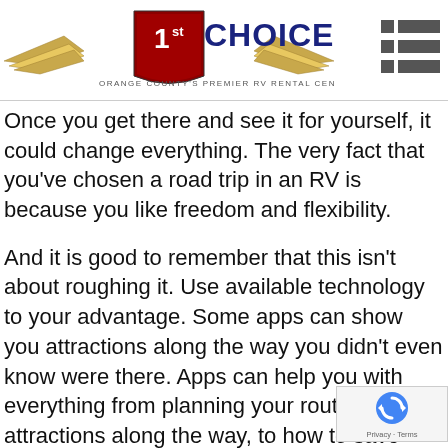1st CHOICE RV — ORANGE COUNTY'S PREMIER RV RENTAL CENTER
Once you get there and see it for yourself, it could change everything. The very fact that you've chosen a road trip in an RV is because you like freedom and flexibility.
And it is good to remember that this isn't about roughing it. Use available technology to your advantage. Some apps can show you attractions along the way you didn't even know were there. Apps can help you with everything from planning your route, showing attractions along the way, to how to save money.
There is always a balance between fees and boondocking it. A fully loaded and wired campground is